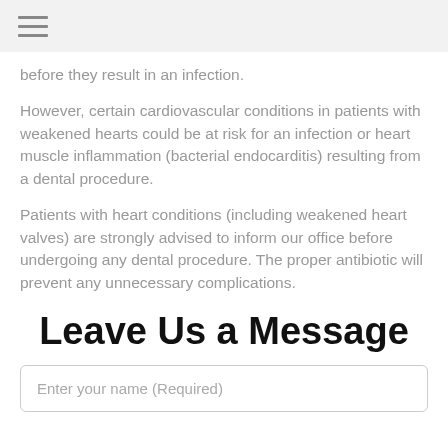before they result in an infection.
However, certain cardiovascular conditions in patients with weakened hearts could be at risk for an infection or heart muscle inflammation (bacterial endocarditis) resulting from a dental procedure.
Patients with heart conditions (including weakened heart valves) are strongly advised to inform our office before undergoing any dental procedure. The proper antibiotic will prevent any unnecessary complications.
Leave Us a Message
Enter your name (Required)